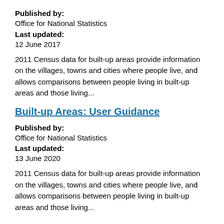Published by:
Office for National Statistics
Last updated:
12 June 2017
2011 Census data for built-up areas provide information on the villages, towns and cities where people live, and allows comparisons between people living in built-up areas and those living...
Built-up Areas: User Guidance
Published by:
Office for National Statistics
Last updated:
13 June 2020
2011 Census data for built-up areas provide information on the villages, towns and cities where people live, and allows comparisons between people living in built-up areas and those living...